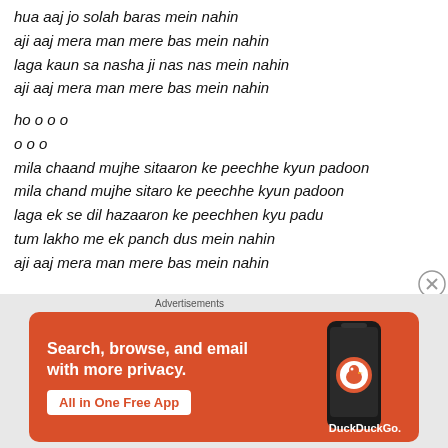hua aaj jo solah baras mein nahin
aji aaj mera man mere bas mein nahin
laga kaun sa nasha ji nas nas mein nahin
aji aaj mera man mere bas mein nahin
ho o o o
o o o
mila chaand mujhe sitaaron ke peechhe kyun padoon
mila chand mujhe sitaro ke peechhe kyun padoon
laga ek se dil hazaaron ke peechhen kyu padu
tum lakho me ek panch dus mein nahin
aji aaj mera man mere bas mein nahin
[Figure (infographic): DuckDuckGo advertisement banner with orange background showing 'Search, browse, and email with more privacy. All in One Free App' with a phone graphic and DuckDuckGo logo.]